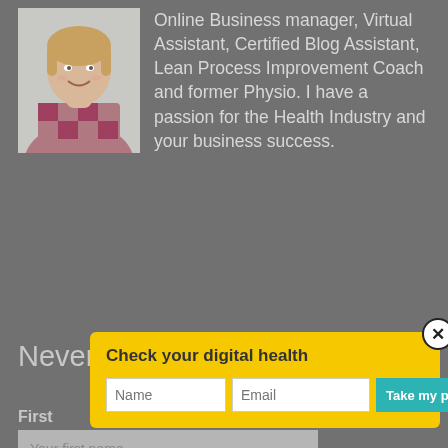[Figure (photo): Profile photo of a woman smiling, wearing a patterned top, placed in top-left area of the page]
Online Business manager, Virtual Assistant, Certified Blog Assistant, Lean Process Improvement Coach and former Physio. I have a passion for the Health Industry and your business success.
Never miss our news!
[Figure (screenshot): Yellow popup box with title 'Check your digital health', containing Name and Email input fields and a teal 'Take my pulse!' button, with a close (X) button in the top-right corner]
First
Your first name
Email Address:
Your email address
Yes please